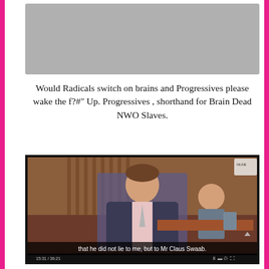[Figure (photo): Gray placeholder rectangle at the top of the page]
Would Radicals switch on brains and Progressives please wake the f?#" Up. Progressives , shorthand for Brain Dead NWO Slaves.
[Figure (screenshot): Video screenshot of a man in a dark suit and pink shirt speaking at what appears to be a legislative chamber. A woman is visible in the background. Subtitle text at the bottom reads: 'that he did not lie to me, but to Mr Claus Swaab.' Timestamp shows 15:31 / 36:21.]